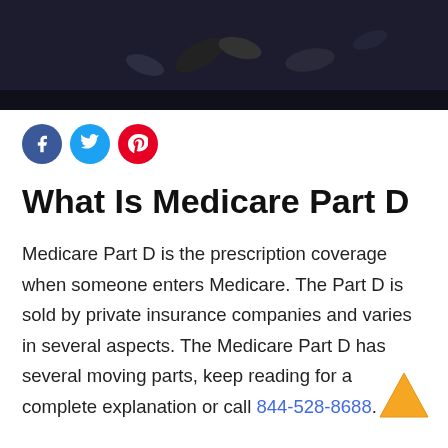[Figure (photo): Dark hero banner image showing pills/capsules on a dark background]
[Figure (infographic): Social media icons: Facebook (blue circle with f), Twitter (light blue circle with bird), Pinterest (red circle with p)]
What Is Medicare Part D
Medicare Part D is the prescription coverage when someone enters Medicare.  The Part D is sold by private insurance companies and varies in several aspects.  The Medicare Part D has several moving parts, keep reading for a complete explanation or call 844-528-8688.